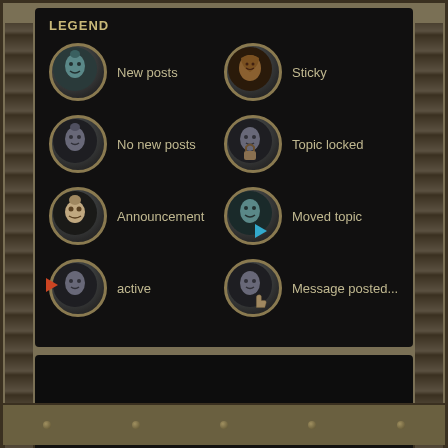LEGEND
New posts
Sticky
No new posts
Topic locked
Announcement
Moved topic
active
Message posted...
Board index